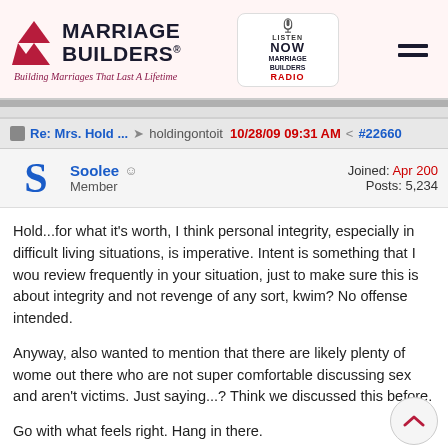Marriage Builders® — Building Marriages That Last A Lifetime
Re: Mrs. Hold ...  holdingontoit  10/28/09 09:31 AM  #22660
Soolee  Member  Joined: Apr 200  Posts: 5,234
Hold...for what it's worth, I think personal integrity, especially in difficult living situations, is imperative. Intent is something that I wou review frequently in your situation, just to make sure this is about integrity and not revenge of any sort, kwim? No offense intended.

Anyway, also wanted to mention that there are likely plenty of women out there who are not super comfortable discussing sex and aren't victims. Just saying...? Think we discussed this before.

Go with what feels right. Hang in there.